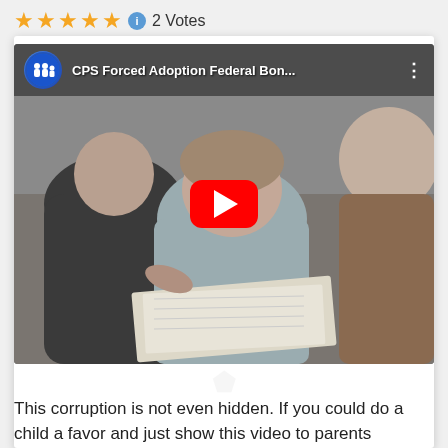★★★★★ ℹ 2 Votes
[Figure (screenshot): YouTube video thumbnail showing three people sitting together looking at papers. The video title reads 'CPS Forced Adoption Federal Bon...' with a channel logo on the left showing a family silhouette. A red YouTube play button is centered on the thumbnail. Three-dot menu icon is visible in the top right.]
This corruption is not even hidden. If you could do a child a favor and just show this video to parents